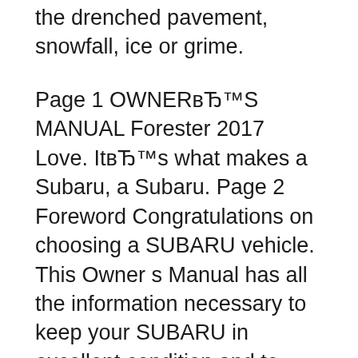the drenched pavement, snowfall, ice or grime.
Page 1 OWNERвЂ™S MANUAL Forester 2017 Love. ItвЂ™s what makes a Subaru, a Subaru. Page 2 Foreword Congratulations on choosing a SUBARU vehicle. This Owner s Manual has all the information necessary to keep your SUBARU in excellent condition and to properly maintain the emission control system for minimizing emission pollutants. Page 1 OWNERвЂ™S MANUAL Forester 2017 Love. ItвЂ™s what makes a Subaru, a Subaru. Page 2 Foreword Congratulations on choosing a SUBARU vehicle. This Owner s Manual has all the information necessary to keep your SUBARU in excellent condition and to properly maintain the emission control system for minimizing emission